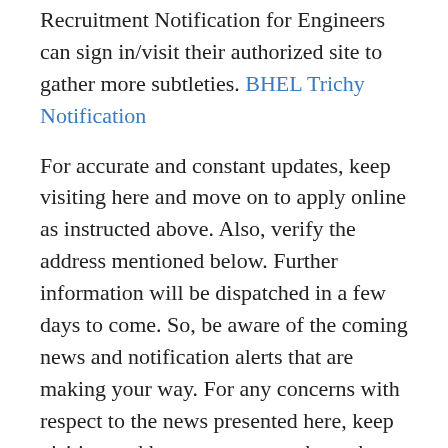Recruitment Notification for Engineers can sign in/visit their authorized site to gather more subtleties. BHEL Trichy Notification
For accurate and constant updates, keep visiting here and move on to apply online as instructed above. Also, verify the address mentioned below. Further information will be dispatched in a few days to come. So, be aware of the coming news and notification alerts that are making your way. For any concerns with respect to the news presented here, keep visiting and have your say to the author of this news article using the comments section.
A site for Help: Download FACT Online Application form Here.
Official Address: www.fact.co.in